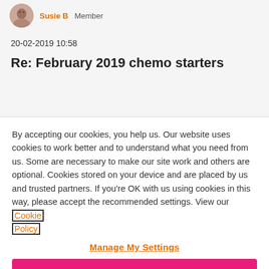[Figure (photo): Circular avatar photo of a forum user (Susie B), showing a woman, partially cropped]
Susie B  Member
20-02-2019 10:58
Re: February 2019 chemo starters
By accepting our cookies, you help us. Our website uses cookies to work better and to understand what you need from us. Some are necessary to make our site work and others are optional. Cookies stored on your device and are placed by us and trusted partners. If you're OK with us using cookies in this way, please accept the recommended settings. View our Cookie Policy
Manage My Settings
Reject All
Accept All Cookies